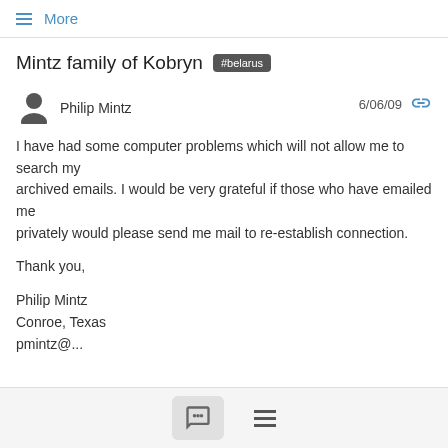≡ More
Mintz family of Kobryn #belarus
Philip Mintz · 6/06/09
I have had some computer problems which will not allow me to search my archived emails. I would be very grateful if those who have emailed me privately would please send me mail to re-establish connection.

Thank you,

Philip Mintz
Conroe, Texas
pmintz@...